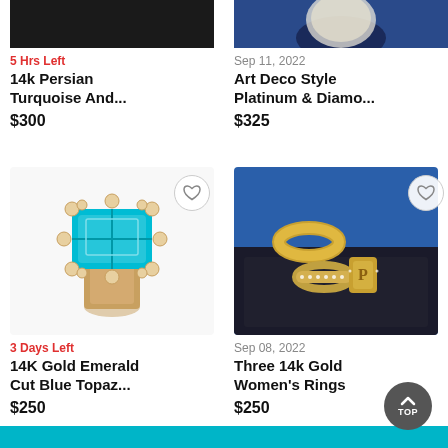[Figure (photo): Partial image of 14k Persian Turquoise jewelry item, dark background, top portion only]
5 Hrs Left
14k Persian Turquoise And...
$300
[Figure (photo): Partial image of Art Deco Style Platinum & Diamond jewelry, dark blue background, top portion only]
Sep 11, 2022
Art Deco Style Platinum & Diamo...
$325
[Figure (photo): 14K Gold Emerald Cut Blue Topaz ring with diamond halo setting on white background, with heart/favorite button]
3 Days Left
14K Gold Emerald Cut Blue Topaz...
$250
[Figure (photo): Three 14k Gold Women's Rings on dark velvet display, blue background, with heart/favorite button]
Sep 08, 2022
Three 14k Gold Women's Rings
$250